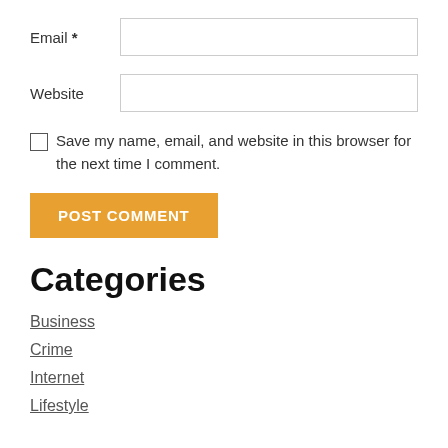Email *
Website
Save my name, email, and website in this browser for the next time I comment.
POST COMMENT
Categories
Business
Crime
Internet
Lifestyle